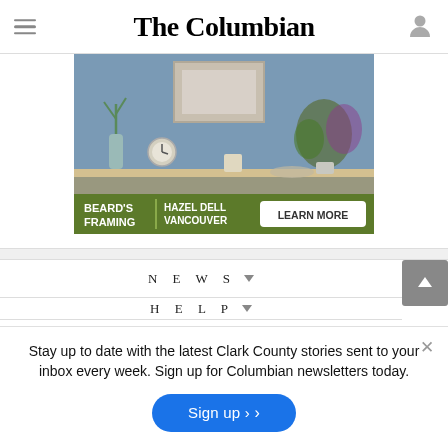The Columbian
[Figure (photo): Advertisement banner for Beard's Framing, Hazel Dell Vancouver with a home decor shelf scene and a green 'LEARN MORE' button]
NEWS
HELP
Stay up to date with the latest Clark County stories sent to your inbox every week. Sign up for Columbian newsletters today.
Sign up >